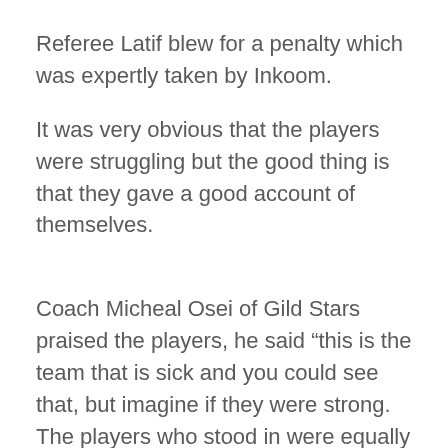Referee Latif blew for a penalty which was expertly taken by Inkoom.
It was very obvious that the players were struggling but the good thing is that they gave a good account of themselves.
Coach Micheal Osei of Gild Stars praised the players, he said “this is the team that is sick and you could see that, but imagine if they were strong. The players who stood in were equally good. They gave my team a tough game even though my team dominated the game especially in the